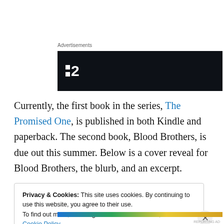Advertisements
[Figure (logo): Dark banner advertisement with white logo showing two squares and the number 2]
Currently, the first book in the series, The Promised One, is published in both Kindle and paperback. The second book, Blood Brothers, is due out this summer. Below is a cover reveal for Blood Brothers, the blurb, and an excerpt.
Privacy & Cookies: This site uses cookies. By continuing to use this website, you agree to their use.
To find out more, including how to control cookies, see here: Cookie Policy
Close and accept